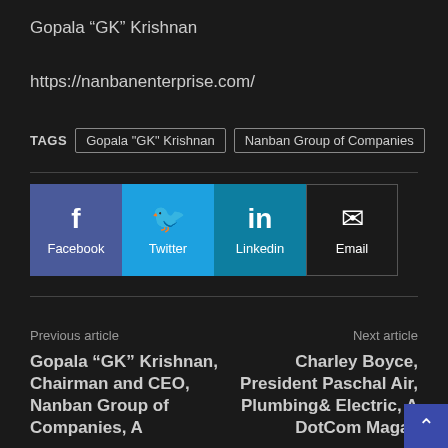Gopala “GK” Krishnan
https://nanbanenterprise.com/
TAGS  Gopala "GK" Krishnan  Nanban Group of Companies
[Figure (infographic): Social share buttons: Facebook (blue-purple), Twitter (cyan), Linkedin (teal), Email (black with border)]
Previous article
Gopala “GK” Krishnan, Chairman and CEO, Nanban Group of Companies, A
Next article
Charley Boyce, President Paschal Air, Plumbing & Electric, A DotCom Magazine